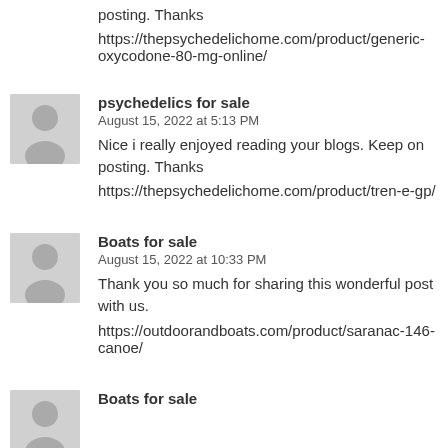posting. Thanks
https://thepsychedelichome.com/product/generic-oxycodone-80-mg-online/
psychedelics for sale
August 15, 2022 at 5:13 PM
Nice i really enjoyed reading your blogs. Keep on posting. Thanks
https://thepsychedelichome.com/product/tren-e-gp/
Boats for sale
August 15, 2022 at 10:33 PM
Thank you so much for sharing this wonderful post with us.
https://outdoorandboats.com/product/saranac-146-canoe/
Boats for sale